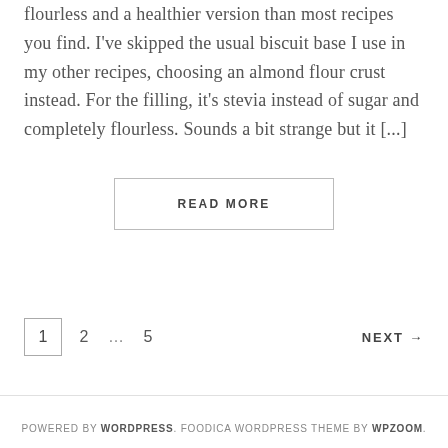flourless and a healthier version than most recipes you find. I've skipped the usual biscuit base I use in my other recipes, choosing an almond flour crust instead. For the filling, it's stevia instead of sugar and completely flourless. Sounds a bit strange but it [...]
READ MORE
1  2  …  5  NEXT →
POWERED BY WORDPRESS. FOODICA WORDPRESS THEME BY WPZOOM.